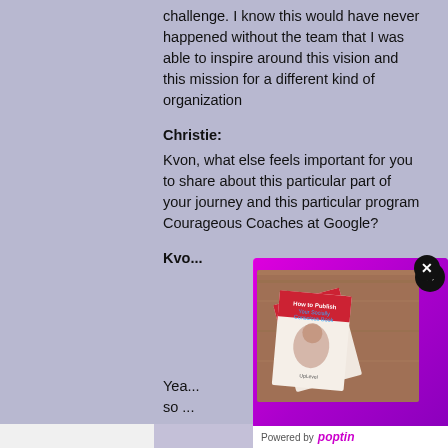challenge. I know this would have never happened without the team that I was able to inspire around this vision and this mission for a different kind of organization
Christie:
Kvon, what else feels important for you to share about this particular part of your journey and this particular program Courageous Coaches at Google?
Kvo...
Yea...
so ...
opp...
bec...
a h...
cul...
[Figure (illustration): Book cover popup showing 'How to Publish Your Socially Conscious Book' with Publishing Roadmap promotional content, a Learn More button, close button, and Powered by Poptin footer]
Publishing Roadmap
Over 85 pages that guide you through branding, marketing, publishing and more!
Learn More
Powered by poptin